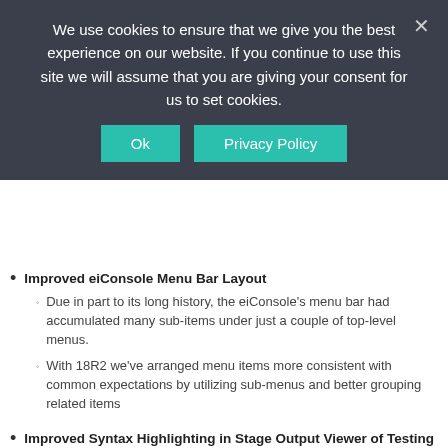We use cookies to ensure that we give you the best experience on our website. If you continue to use this site we will assume that you are giving your consent for us to set cookies.
Improved eiConsole Menu Bar Layout
Due in part to its long history, the eiConsole's menu bar had accumulated many sub-items under just a couple of top-level menus.
With 18R2 we've arranged menu items more consistent with common expectations by utilizing sub-menus and better grouping related items
Improved Syntax Highlighting in Stage Output Viewer of Testing and Debug Modes
Drop-down to add the ability to toggle between no syntax, XML and JSON
XML and JSON now have collapsible code segments
Improved support for Character Encodings in XPath Value